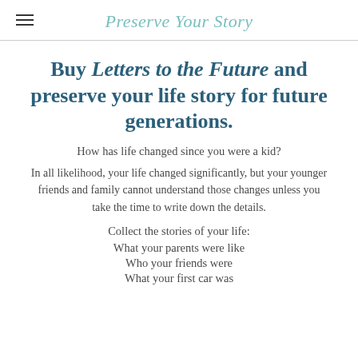Preserve Your Story
Buy Letters to the Future and preserve your life story for future generations.
How has life changed since you were a kid?
In all likelihood, your life changed significantly, but your younger friends and family cannot understand those changes unless you take the time to write down the details.
Collect the stories of your life:
What your parents were like
Who your friends were
What your first car was